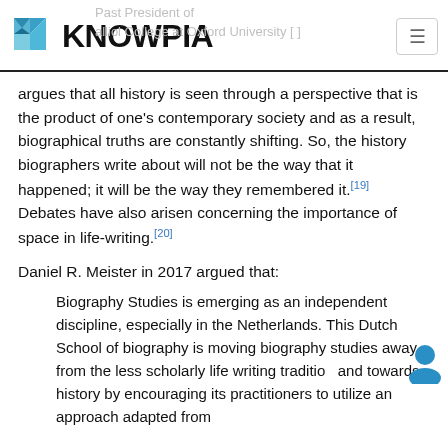KNOWPIA — Past President of Balliol College at Oxford University [faded background text]
argues that all history is seen through a perspective that is the product of one's contemporary society and as a result, biographical truths are constantly shifting. So, the history biographers write about will not be the way that it happened; it will be the way they remembered it.[19] Debates have also arisen concerning the importance of space in life-writing.[20]
Daniel R. Meister in 2017 argued that:
Biography Studies is emerging as an independent discipline, especially in the Netherlands. This Dutch School of biography is moving biography studies away from the less scholarly life writing tradition and towards history by encouraging its practitioners to utilize an approach adapted from